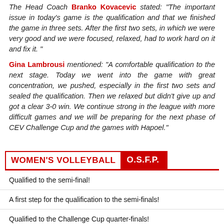The Head Coach Branko Kovacevic stated: "The important issue in today's game is the qualification and that we finished the game in three sets. After the first two sets, in which we were very good and we were focused, relaxed, had to work hard on it and fix it."
Gina Lambrousi mentioned: "A comfortable qualification to the next stage. Today we went into the game with great concentration, we pushed, especially in the first two sets and sealed the qualification. Then we relaxed but didn't give up and got a clear 3-0 win. We continue strong in the league with more difficult games and we will be preparing for the next phase of CEV Challenge Cup and the games with Hapoel."
WOMEN'S VOLLEYBALL  O.S.F.P.
Qualified to the semi-final!
A first step for the qualification to the semi-finals!
Qualified to the Challenge Cup quarter-finals!